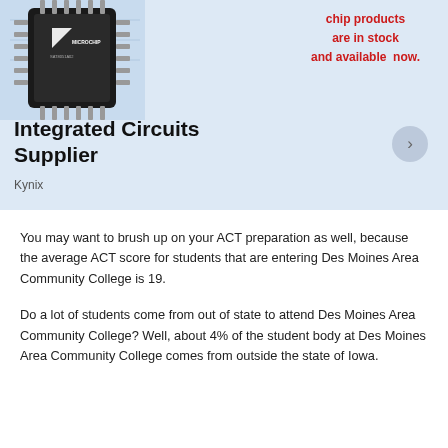[Figure (illustration): Advertisement banner with light blue background showing a Microchip brand IC chip image on the left, red text on the right reading 'chip products are in stock and available now.', large bold text 'Integrated Circuits Supplier', subtitle 'Kynix', and a circular arrow button.]
You may want to brush up on your ACT preparation as well, because the average ACT score for students that are entering Des Moines Area Community College is 19.
Do a lot of students come from out of state to attend Des Moines Area Community College? Well, about 4% of the student body at Des Moines Area Community College comes from outside the state of Iowa.